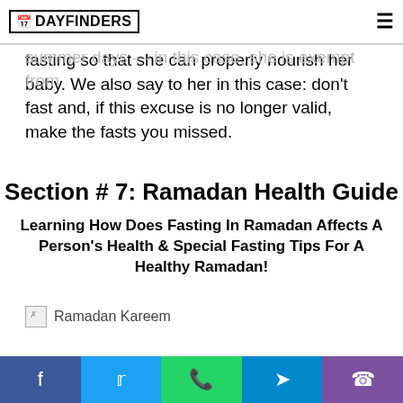DAYFINDERS
if the mother who is breastfeeding is weak and needs food and drink, especially during the summer days — in this case, she is exempt from fasting so that she can properly nourish her baby. We also say to her in this case: don't fast and, if this excuse is no longer valid, make the fasts you missed.
Section # 7: Ramadan Health Guide
Learning How Does Fasting In Ramadan Affects A Person's Health & Special Fasting Tips For A Healthy Ramadan!
[Figure (photo): Broken image placeholder with alt text 'Ramadan Kareem']
Social share buttons: Facebook, Twitter, WhatsApp, Telegram, Viber